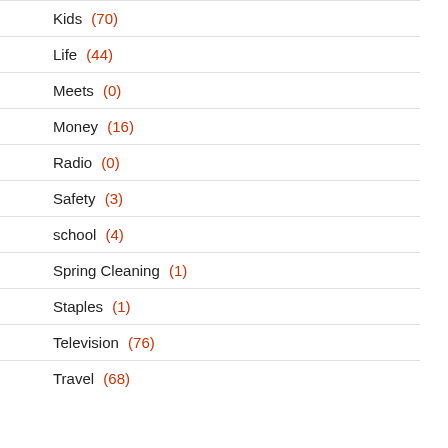Kids (70)
Life (44)
Meets (0)
Money (16)
Radio (0)
Safety (3)
school (4)
Spring Cleaning (1)
Staples (1)
Television (76)
Travel (68)